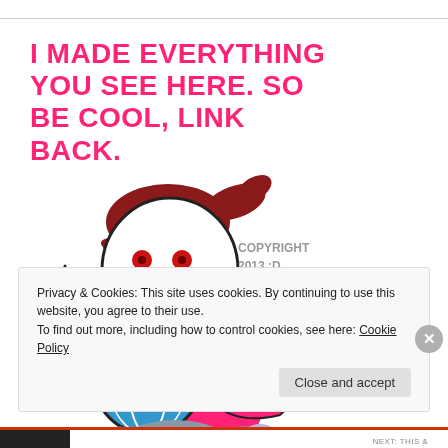I MADE EVERYTHING YOU SEE HERE. SO BE COOL, LINK BACK.
[Figure (illustration): Cartoon drawing of an angry girl with a ponytail wearing a pink shirt, hugging a WordPress globe logo. She has red eyes and an open mouth showing teeth. Below the globe is an arrow pointing to text 'WORDPRESS BLOG PROTECTION'. Next to her is text 'COPYRIGHT 2013 :D'.]
Privacy & Cookies: This site uses cookies. By continuing to use this website, you agree to their use.
To find out more, including how to control cookies, see here: Cookie Policy
Close and accept